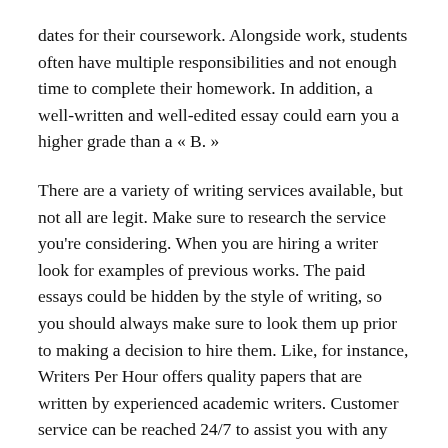dates for their coursework. Alongside work, students often have multiple responsibilities and not enough time to complete their homework. In addition, a well-written and well-edited essay could earn you a higher grade than a « B. »
There are a variety of writing services available, but not all are legit. Make sure to research the service you're considering. When you are hiring a writer look for examples of previous works. The paid essays could be hidden by the style of writing, so you should always make sure to look them up prior to making a decision to hire them. Like, for instance, Writers Per Hour offers quality papers that are written by experienced academic writers. Customer service can be reached 24/7 to assist you with any problems or questions you have.